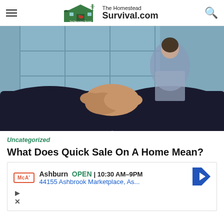The Homestead Survival.com
[Figure (photo): Two people in business attire shaking hands, with a woman in background and large glass windows behind them]
Uncategorized
What Does Quick Sale On A Home Mean?
[Figure (other): Advertisement: Ashburn OPEN 10:30AM-9PM, 44155 Ashbrook Marketplace, As..., McAlister's Deli logo, navigation arrow icon]